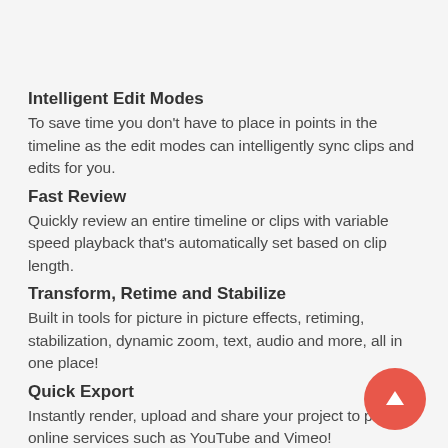Intelligent Edit Modes
To save time you don't have to place in points in the timeline as the edit modes can intelligently sync clips and edits for you.
Fast Review
Quickly review an entire timeline or clips with variable speed playback that's automatically set based on clip length.
Transform, Retime and Stabilize
Built in tools for picture in picture effects, retiming, stabilization, dynamic zoom, text, audio and more, all in one place!
Quick Export
Instantly render, upload and share your project to popular online services such as YouTube and Vimeo!
Media Import
Quickly import individual files or entire directory structures with subfolders as bins into your project right from the Cut page.